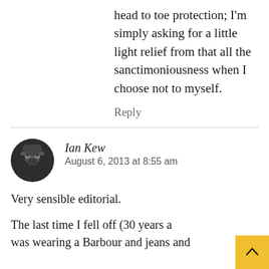head to toe protection; I'm simply asking for a little light relief from that all the sanctimoniousness when I choose not to myself.
Reply
Ian Kew
August 6, 2013 at 8:55 am
Very sensible editorial.
The last time I fell off (30 years a was wearing a Barbour and jeans and